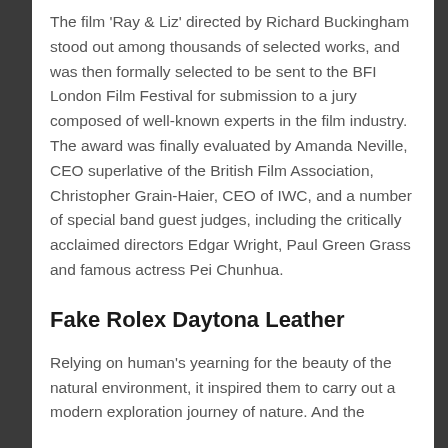The film 'Ray & Liz' directed by Richard Buckingham stood out among thousands of selected works, and was then formally selected to be sent to the BFI London Film Festival for submission to a jury composed of well-known experts in the film industry. The award was finally evaluated by Amanda Neville, CEO superlative of the British Film Association, Christopher Grain-Haier, CEO of IWC, and a number of special band guest judges, including the critically acclaimed directors Edgar Wright, Paul Green Grass and famous actress Pei Chunhua.
Fake Rolex Daytona Leather
Relying on human's yearning for the beauty of the natural environment, it inspired them to carry out a modern exploration journey of nature. And the